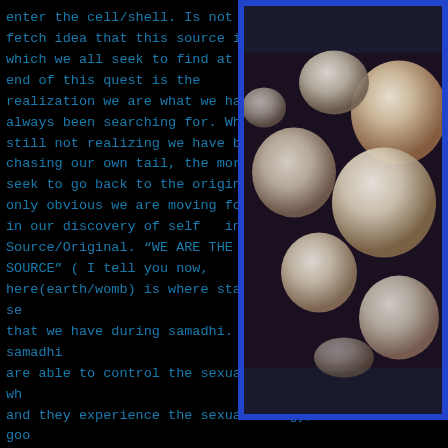enter the cell/shell. Is not a far fetch idea that this source in which we all seek to find at the end of this quest is the realization we are what we have always been searching for. While still not realizing we have been chasing our own tail, the more we seek to go back to the original is only obvious we are moving forward in our discovery of self  into Source/Original. "WE ARE THE SOURCE" ( I tell you now, here(earth/womb) is where stars/gods are born). The se that we have during samadhi. Some people enter samadhi are able to control the sexual energy. Most people, wh and they experience the sexual energy, it feels so goo Their body cells react differently. Just like after in samadhi, sometimes your body feels weird, is shaking,
[Figure (photo): Microscopic photograph of round cell-like spherical structures (possibly eggs or cells) with a blue border frame. The spheres are pale white/cream colored against a dark background.]